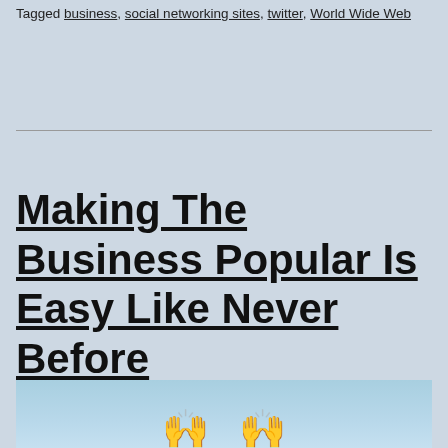Tagged business, social networking sites, twitter, World Wide Web
Making The Business Popular Is Easy Like Never Before
[Figure (photo): Partial view of a photo showing raised hands against a light blue sky background]